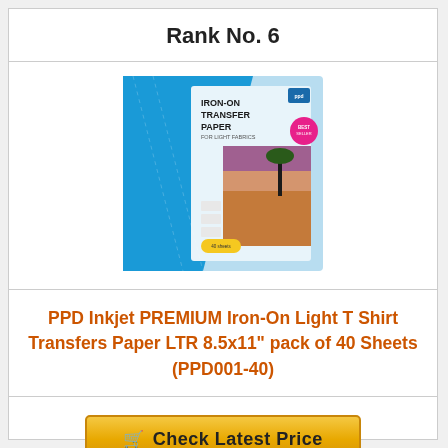Rank No. 6
[Figure (photo): Product image of PPD Iron-On Transfer Paper package with blue cover showing palm tree sunset photo]
PPD Inkjet PREMIUM Iron-On Light T Shirt Transfers Paper LTR 8.5x11" pack of 40 Sheets (PPD001-40)
Check Latest Price